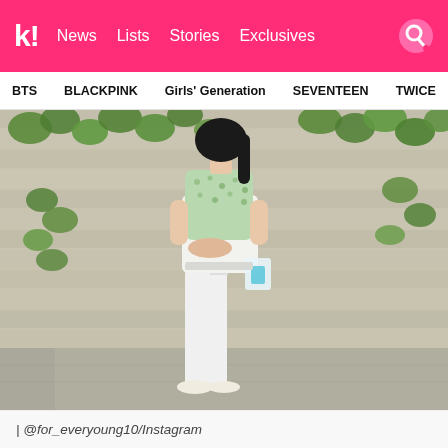k! News Lists Stories Exclusives
BTS   BLACKPINK   Girls' Generation   SEVENTEEN   TWICE
[Figure (photo): A young woman wearing a green floral short-sleeve top and white slim jeans, holding a small tote bag, standing in front of a concrete wall with ivy vines, wearing white flat shoes.]
| @for_everyoung10/Instagram